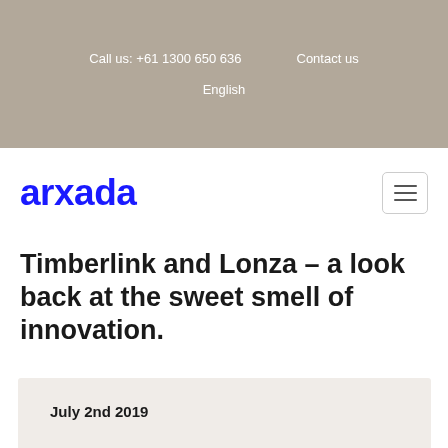Call us: +61 1300 650 636   Contact us
English
[Figure (logo): arxada company logo in blue bold text]
Timberlink and Lonza – a look back at the sweet smell of innovation.
July 2nd 2019